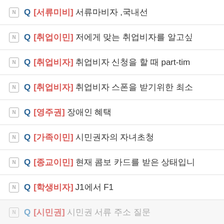Q [서류미비] 서류마비자 ,국내선
Q [취업이민] 저에게 맞는 취업비자를 알고싶
Q [취업비자] 취업비자 신청을 할 때 part-tim
Q [취업비자] 취업비자 스폰을 받기위한 최소
Q [영주권] 장애인 혜택
Q [가족이민] 시민권자의 자녀초청
Q [종교이민] 현재 콤보 카드를 받은 상태입니
Q [학생비자] J1에서 F1
Q [시민권] 시민권 서류 주소 질문